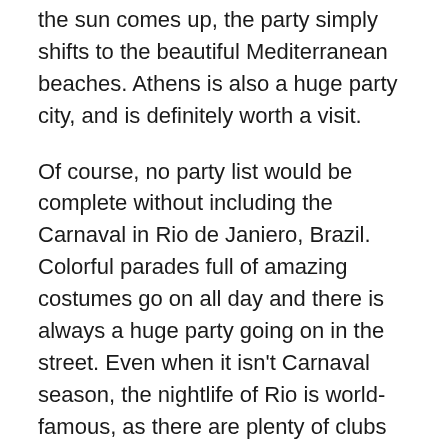the sun comes up, the party simply shifts to the beautiful Mediterranean beaches. Athens is also a huge party city, and is definitely worth a visit.
Of course, no party list would be complete without including the Carnaval in Rio de Janiero, Brazil. Colorful parades full of amazing costumes go on all day and there is always a huge party going on in the street. Even when it isn't Carnaval season, the nightlife of Rio is world-famous, as there are plenty of clubs and bars to frequent.
If you are always looking for a good party, definitely take your search to the international level. Just don't forget your passport. If you don't have a passport, or if you need to get a quick passport renewal,